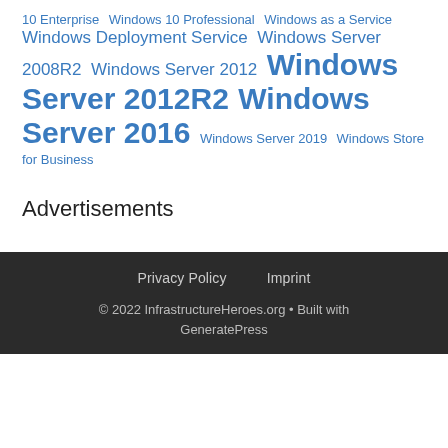10 Enterprise  Windows 10 Professional  Windows as a Service  Windows Deployment Service  Windows Server 2008R2  Windows Server 2012  Windows Server 2012R2  Windows Server 2016  Windows Server 2019  Windows Store for Business
Advertisements
Privacy Policy   Imprint
© 2022 InfrastructureHeroes.org • Built with GeneratePress